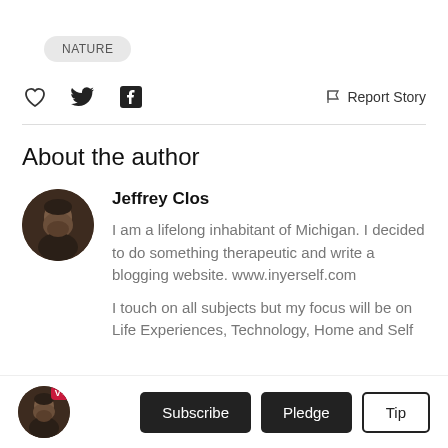NATURE
[Figure (infographic): Social action bar with heart, Twitter bird, Facebook icon on left, and Report Story link on right]
About the author
[Figure (photo): Circular profile photo of Jeffrey Clos, a man with beard and short hair]
Jeffrey Clos
I am a lifelong inhabitant of Michigan. I decided to do something therapeutic and write a blogging website. www.inyerself.com
I touch on all subjects but my focus will be on Life Experiences, Technology, Home and Self
[Figure (infographic): Bottom bar with small circular author avatar with V+ badge, Subscribe, Pledge, and Tip buttons]